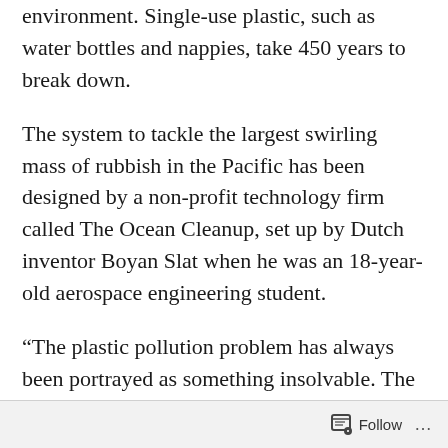environment. Single-use plastic, such as water bottles and nappies, take 450 years to break down.
The system to tackle the largest swirling mass of rubbish in the Pacific has been designed by a non-profit technology firm called The Ocean Cleanup, set up by Dutch inventor Boyan Slat when he was an 18-year-old aerospace engineering student.
“The plastic pollution problem has always been portrayed as something insolvable. The story has always been ‘OK, we can’t clean it up – the best we can do is not make it worse’. To me that’s a very uninspiring message,” said Mr Slat.
Follow